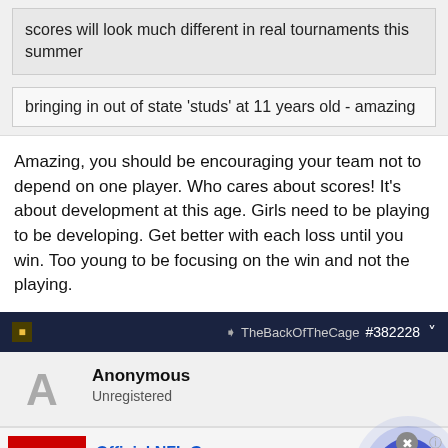scores will look much different in real tournaments this summer
bringing in out of state 'studs' at 11 years old - amazing
Amazing, you should be encouraging your team not to depend on one player. Who cares about scores! It's about development at this age. Girls need to be playing to be developing. Get better with each loss until you win. Too young to be focusing on the win and not the playing.
TheBackOfTheCage #382228
Anonymous
Unregistered
[Figure (screenshot): Advertisement for Official NFL Gear showing 50% off discount with NFL shop URL and a forward arrow button]